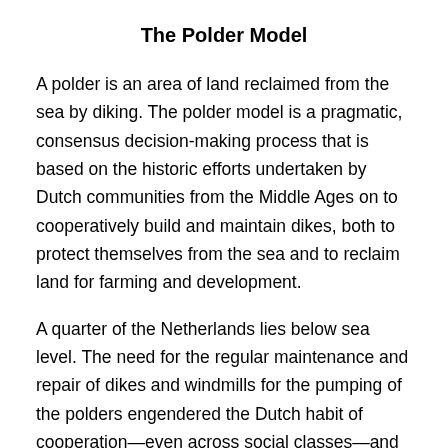The Polder Model
A polder is an area of land reclaimed from the sea by diking. The polder model is a pragmatic, consensus decision-making process that is based on the historic efforts undertaken by Dutch communities from the Middle Ages on to cooperatively build and maintain dikes, both to protect themselves from the sea and to reclaim land for farming and development.
A quarter of the Netherlands lies below sea level. The need for the regular maintenance and repair of dikes and windmills for the pumping of the polders engendered the Dutch habit of cooperation—even across social classes—and a respect for strong governance to manage the polder to prevent disastrous flooding. Cooperation was a matter of life and death.